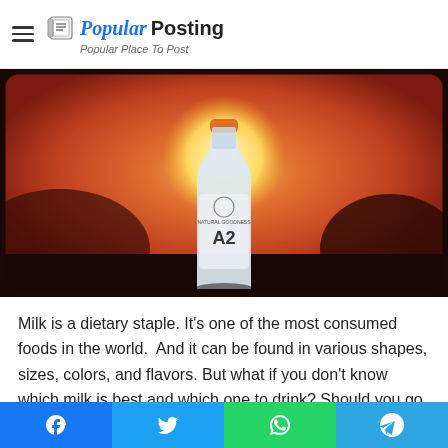Popular Posting — Popular Place To Post
[Figure (photo): A milk bottle labeled A2 backlit by a warm orange sunset glow, with a rounded dark background]
Milk is a dietary staple. It's one of the most consumed foods in the world.  And it can be found in various shapes, sizes, colors, and flavors. But what if you don't know which milk is best and which one to drink? Should you go